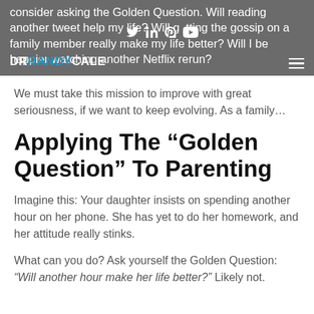consider asking the Golden Question. Will reading another tweet help my life? Will getting the gossip on a family member really make my life better? Will I be happier watching another Netflix rerun?
We must take this mission to improve with great seriousness, if we want to keep evolving. As a family…
Applying The “Golden Question” To Parenting
Imagine this: Your daughter insists on spending another hour on her phone. She has yet to do her homework, and her attitude really stinks.
What can you do? Ask yourself the Golden Question: “Will another hour make her life better?” Likely not.